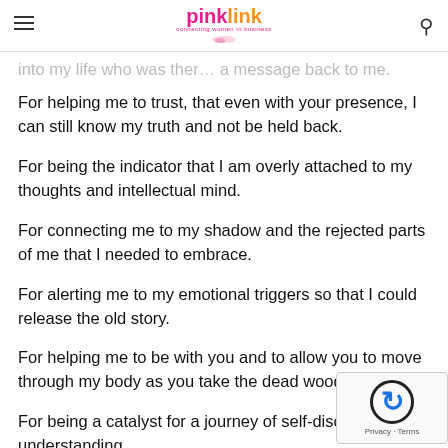pink link — connecting women in business
into my life who was there… a message back to me.
For helping me to trust, that even with your presence, I can still know my truth and not be held back.
For being the indicator that I am overly attached to my thoughts and intellectual mind.
For connecting me to my shadow and the rejected parts of me that I needed to embrace.
For alerting me to my emotional triggers so that I could release the old story.
For helping me to be with you and to allow you to move through my body as you take the dead wood away.
For being a catalyst for a journey of self-discovery and understanding.